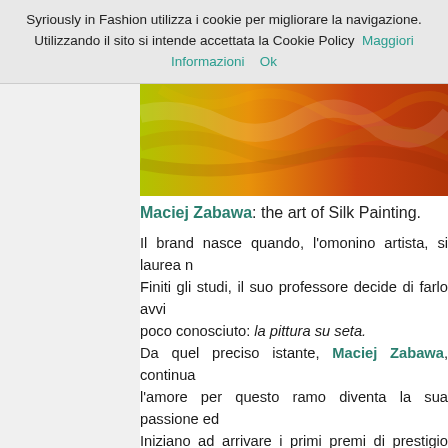Syriously in Fashion utilizza i cookie per migliorare la navigazione. Utilizzando il sito si intende accettata la Cookie Policy  Maggiori Informazioni     Ok
[Figure (photo): Colorful abstract silk painting with yellow-green to orange-red gradient texture]
Maciej Zabawa: the art of Silk Painting.
Il brand nasce quando, l'omonino artista, si laurea n Finiti gli studi, il suo professore decide di farlo avvi poco conosciuto: la pittura su seta. Da quel preciso istante, Maciej Zabawa, continua l'amore per questo ramo diventa la sua passione ed Iniziano ad arrivare i primi premi di prestigio europe possedere una delle sue sciarpe interamente dipin bastasse anche le grandi mostre internazionali son della pittura su seta e le sue opere iniziano a fare il mistica Korea. Da quel momento la prime sciarpe vengono vendu dei brand di sciarpe hand-made più famoso in Euro Ogni collezione è studiata e realizzata in maniera a